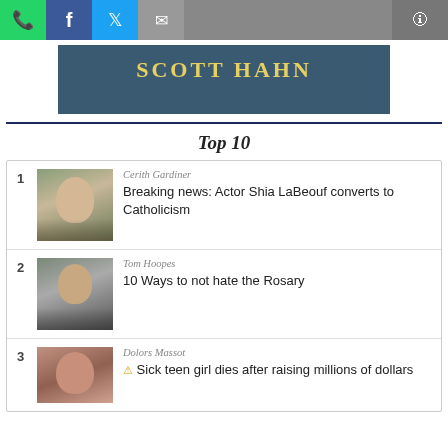[Figure (screenshot): Social sharing bar with WhatsApp (green), Facebook (blue), Twitter (light blue), email (grey) icons on left, and share icon on right grey background]
[Figure (illustration): Scott Hahn dark teal banner with yellow bold text 'SCOTT HAHN' and subtitle text below]
Top 10
1 | Cerith Gardiner | Breaking news: Actor Shia LaBeouf converts to Catholicism
2 | Tom Hoopes | 10 Ways to not hate the Rosary
3 | Dolors Massot | Sick teen girl dies after raising millions of dollars